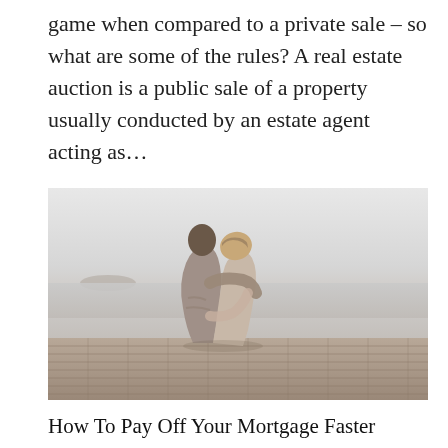game when compared to a private sale – so what are some of the rules? A real estate auction is a public sale of a property usually conducted by an estate agent acting as…
[Figure (photo): A couple sitting on a wooden dock with arms around each other, viewed from behind, with a misty lake or sea in the background.]
How To Pay Off Your Mortgage Faster